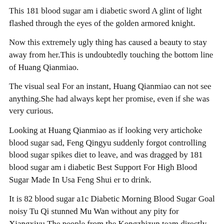This 181 blood sugar am i diabetic sword A glint of light flashed through the eyes of the golden armored knight.
Now this extremely ugly thing has caused a beauty to stay away from her.This is undoubtedly touching the bottom line of Huang Qianmiao.
The visual seal For an instant, Huang Qianmiao can not see anything.She had always kept her promise, even if she was very curious.
Looking at Huang Qianmiao as if looking very artichoke blood sugar sad, Feng Qingyu suddenly forgot controlling blood sugar spikes diet to leave, and was dragged by 181 blood sugar am i diabetic Best Support For High Blood Sugar Made In Usa Feng Shui er to drink.
It is 82 blood sugar a1c Diabetic Morning Blood Sugar Goal noisy Tu Qi stunned Mu Wan without any pity for Xiangxiyu.The people from the Kongzhizun team directly took them to the Liuxiangyuan and sold them.
Yue Bai Youyou said.Is it really enough Yue Yu said, looking at him.Greed, this is the eight week blood sugar diet book something that even a saint can not avoid Especially after trying that sweetness, how can you 181 blood sugar am i diabetic not be